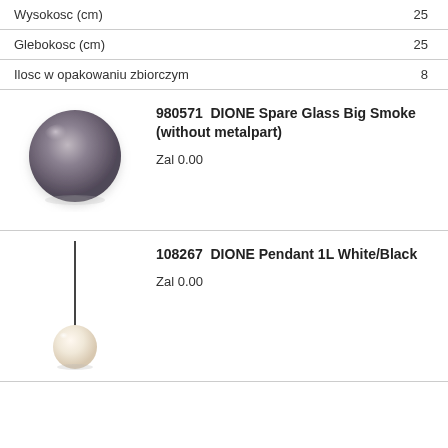|  |  |
| --- | --- |
| Wysokosc (cm) | 25 |
| Glebokosc (cm) | 25 |
| Ilosc w opakowaniu zbiorczym | 8 |
[Figure (photo): Smoke grey glass globe spare glass shade, round ball shape]
980571  DIONE Spare Glass Big Smoke (without metalpart)
Zal 0.00
[Figure (photo): White pendant lamp with thin black rod and small white globe shade]
108267  DIONE Pendant 1L White/Black
Zal 0.00